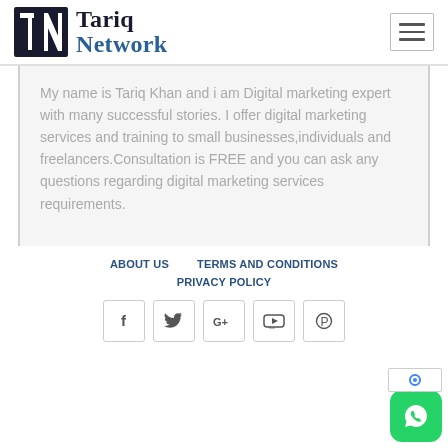[Figure (logo): Tariq Network logo with stylized TN monogram icon in dark navy and the text 'Tariq Network' in serif font, with 'Tariq' in dark navy and 'Network' in blue]
My name is Tariq Khan and i am Digital marketing expert with many successful stories. I offer digital marketing services and training to small businesses,individuals and freelancers.Consultation is FREE and you can ask any questions regarding digital marketing services requirements.
ABOUT US
TERMS AND CONDITIONS
PRIVACY POLICY
[Figure (infographic): Social media icon buttons row: Facebook (f), Twitter (bird), Google+ (G+), YouTube (play), Pinterest (P circle)]